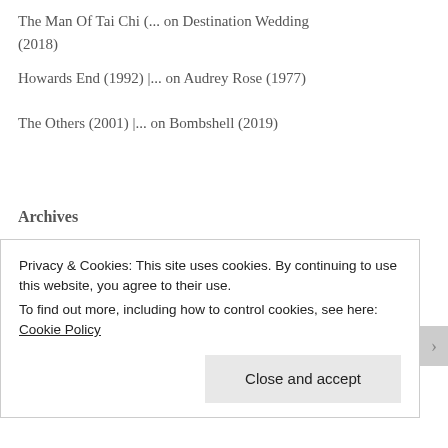The Man Of Tai Chi (... on Destination Wedding (2018)
Howards End (1992) |... on Audrey Rose (1977)
The Others (2001) |... on Bombshell (2019)
Archives
September 2022
August 2022
Privacy & Cookies: This site uses cookies. By continuing to use this website, you agree to their use.
To find out more, including how to control cookies, see here: Cookie Policy
Close and accept